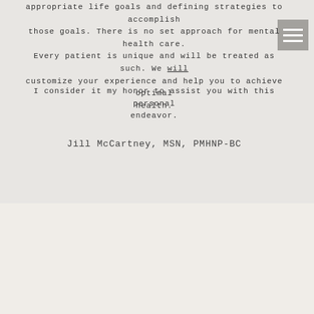appropriate life goals and defining strategies to accomplish those goals. There is no set approach for mental health care. Every patient is unique and will be treated as such. We will customize your experience and help you to achieve optimal health.
I consider it my honor to assist you with this personal endeavor.
Jill McCartney, MSN, PMHNP-BC
[Figure (photo): Headshot photo of a person with curly dark hair against a neutral background]